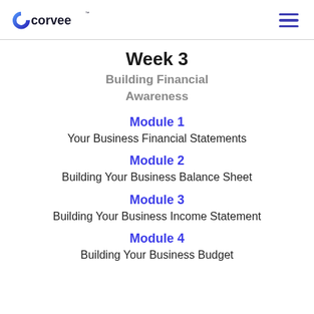corvee
Week 3
Building Financial Awareness
Module 1
Your Business Financial Statements
Module 2
Building Your Business Balance Sheet
Module 3
Building Your Business Income Statement
Module 4
Building Your Business Budget